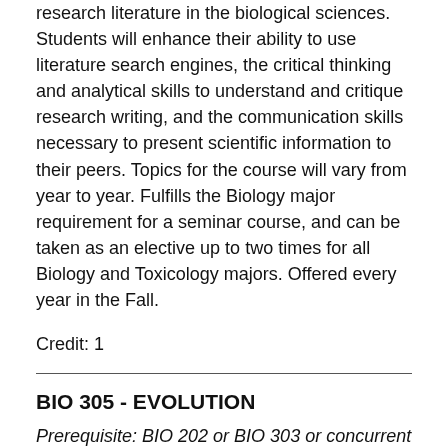research literature in the biological sciences. Students will enhance their ability to use literature search engines, the critical thinking and analytical skills to understand and critique research writing, and the communication skills necessary to present scientific information to their peers. Topics for the course will vary from year to year. Fulfills the Biology major requirement for a seminar course, and can be taken as an elective up to two times for all Biology and Toxicology majors. Offered every year in the Fall.
Credit: 1
BIO 305 - EVOLUTION
Prerequisite: BIO 202 or BIO 303 or concurrent
Evolution is considered to be the central unifying theory of biology. This course will address several